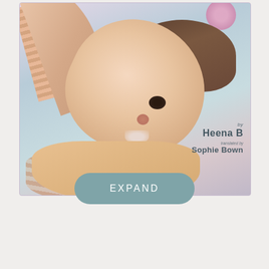[Figure (illustration): Book cover showing a baby/toddler with striped sleeves looking upward, with pink flower accent in upper right. Author credited as 'by Heena B', translated by Sophie Bown. Light blue/lavender background.]
EXPAND